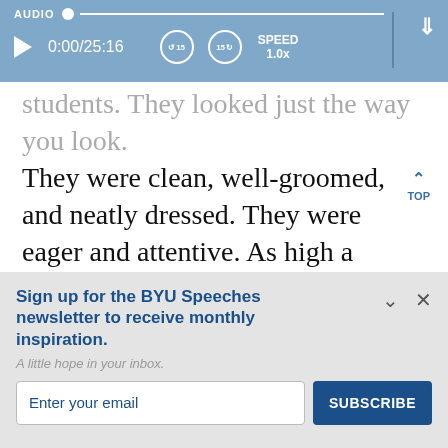AUDIO  0:00/25:16  SPEED 1.0x
students. They looked just the way you look. They were clean, well-groomed, and neatly dressed. They were eager and attentive. As high a percentage of them will be married at the temple as there will be of you. They were much better behaved than some few of you. I
Sign up for the BYU Speeches newsletter to receive monthly inspiration.
A little hope in your inbox.
Enter your email
SUBSCRIBE